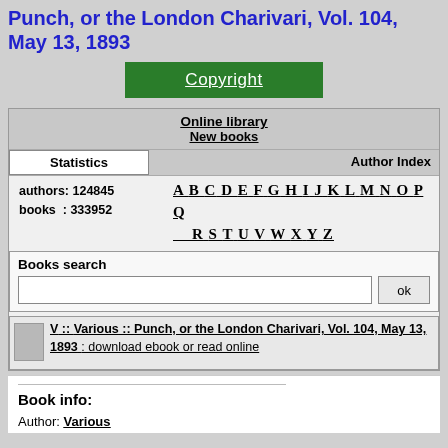Punch, or the London Charivari, Vol. 104, May 13, 1893
[Figure (other): Green Copyright button]
| Online library |  |
| New books |  |
| Statistics | Author Index |
| authors: 124845   A B C D E F G H I J K L M N O P Q |  |
| books   : 333952   R S T U V W X Y Z |  |
Books search
V :: Various :: Punch, or the London Charivari, Vol. 104, May 13, 1893 : download ebook or read online
Book info:
Author: Various